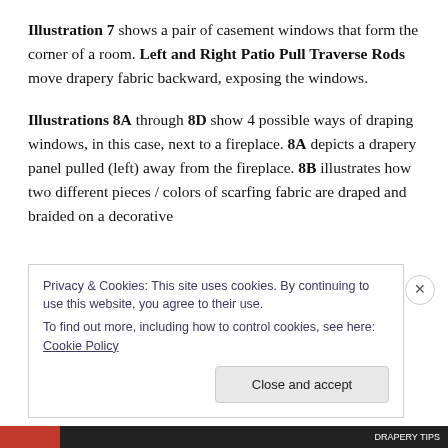Illustration 7 shows a pair of casement windows that form the corner of a room. Left and Right Patio Pull Traverse Rods move drapery fabric backward, exposing the windows.
Illustrations 8A through 8D show 4 possible ways of draping windows, in this case, next to a fireplace. 8A depicts a drapery panel pulled (left) away from the fireplace. 8B illustrates how two different pieces / colors of scarfing fabric are draped and braided on a decorative
Privacy & Cookies: This site uses cookies. By continuing to use this website, you agree to their use.
To find out more, including how to control cookies, see here: Cookie Policy